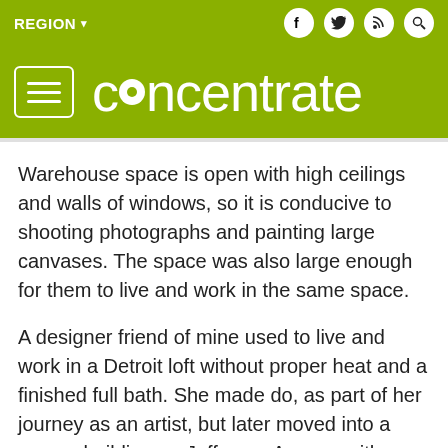REGION ▾
[Figure (logo): Concentrate website logo on olive/yellow-green background with hamburger menu icon]
Warehouse space is open with high ceilings and walls of windows, so it is conducive to shooting photographs and painting large canvases. The space was also large enough for them to live and work in the same space.
A designer friend of mine used to live and work in a Detroit loft without proper heat and a finished full bath. She made do, as part of her journey as an artist, but later moved into a secure building on Jefferson Avenue with fence-protected parking where she now lives and works. Her current space